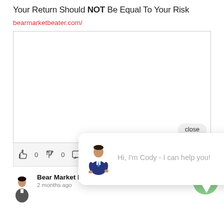Your Return Should NOT Be Equal To Your Risk
bearmarketbeater.com/
[Figure (screenshot): Embedded video/content box with white background and close button, with a chat widget popup showing avatar of Cody and text: Hi, I'm Cody - I can help you!]
0  0
Bear Market Beaters
2 months ago